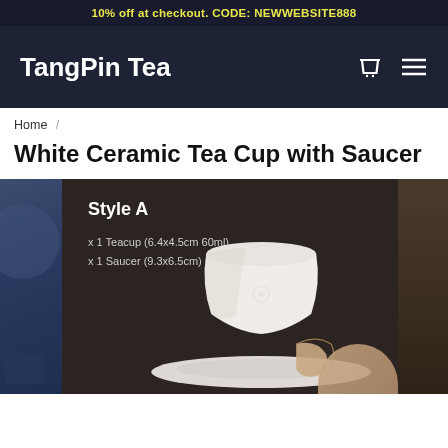10% off at checkout. CODE: NEWWEBSITE888
TangPin Tea
Home /
White Ceramic Tea Cup with Saucer
[Figure (photo): Product photo of a white ceramic tea cup with saucer on dark background, with Style A label showing specs: x1 Teacup (6.4x4.5cm 60ml), x1 Saucer (9.3x6.5cm)]